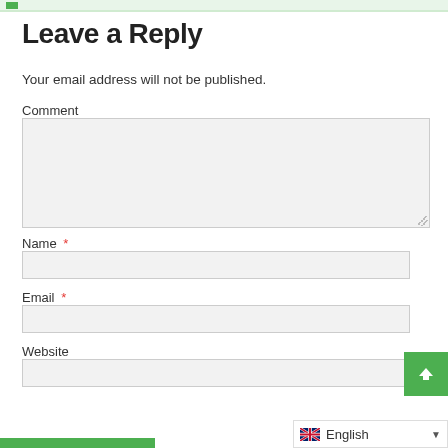Leave a Reply
Your email address will not be published.
Comment
Name *
Email *
Website